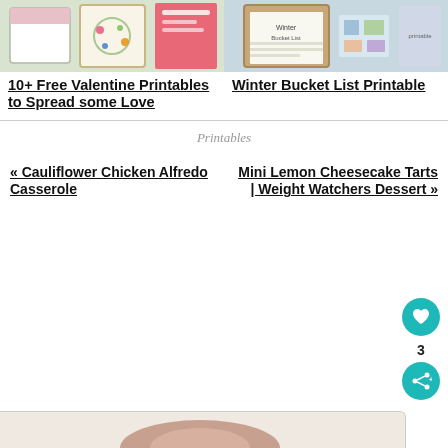[Figure (photo): Two side-by-side thumbnail images: left shows Valentine printables collage, right shows Winter Bucket List printable on clipboard]
10+ Free Valentine Printables to Spread some Love
Winter Bucket List Printable
Printables
« Cauliflower Chicken Alfredo Casserole
Mini Lemon Cheesecake Tarts | Weight Watchers Dessert »
[Figure (photo): Partial bottom image strip showing a food photo]